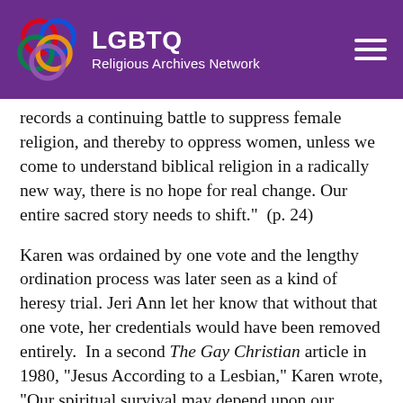LGBTQ Religious Archives Network
records a continuing battle to suppress female religion, and thereby to oppress women, unless we come to understand biblical religion in a radically new way, there is no hope for real change. Our entire sacred story needs to shift."  (p. 24)
Karen was ordained by one vote and the lengthy ordination process was later seen as a kind of heresy trial. Jeri Ann let her know that without that one vote, her credentials would have been removed entirely.  In a second The Gay Christian article in 1980, "Jesus According to a Lesbian," Karen wrote, "Our spiritual survival may depend upon our rejection of traditional theology."  (p. 8) This article too generated considerable